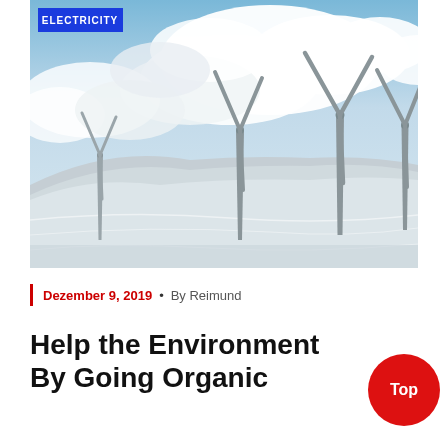[Figure (photo): Wind turbines on a snow-covered hillside with dramatic cloudy sky. Three large wind turbines are visible against a light blue and white sky. The ground is covered in snow with wind-swept patterns.]
Dezember 9, 2019 • By Reimund
Help the Environment By Going Organic